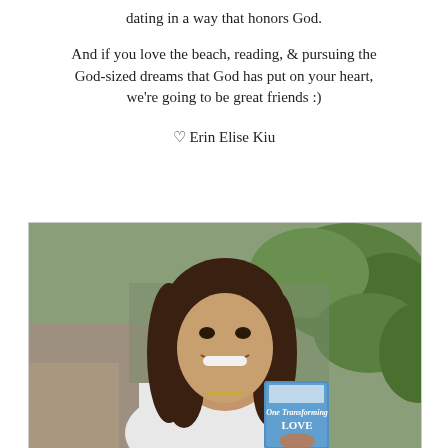dating in a way that honors God.
And if you love the beach, reading, & pursuing the God-sized dreams that God has put on your heart, we're going to be great friends :)
♡ Erin Elise Kiu
[Figure (photo): A smiling woman with long dark wavy hair wearing a white top and a bar necklace, holding a book titled 'One Transforming LOVE', photographed outdoors with green foliage and rocky ground in the background.]